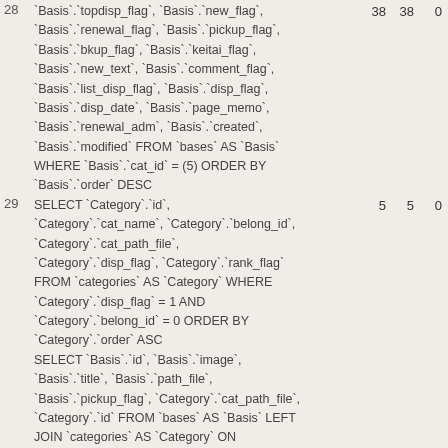28  Basis`.`topdisp_flag`, `Basis`.`new_flag`, `Basis`.`renewal_flag`, `Basis`.`pickup_flag`, `Basis`.`bkup_flag`, `Basis`.`keitai_flag`, `Basis`.`new_text`, `Basis`.`comment_flag`, `Basis`.`list_disp_flag`, `Basis`.`disp_flag`, `Basis`.`disp_date`, `Basis`.`page_memo`, `Basis`.`renewal_adm`, `Basis`.`created`, `Basis`.`modified` FROM `bases` AS `Basis` WHERE `Basis`.`cat_id` = (5) ORDER BY `Basis`.`order` DESC  38 38 0
29  SELECT `Category`.`id`, `Category`.`cat_name`, `Category`.`belong_id`, `Category`.`cat_path_file`, `Category`.`disp_flag`, `Category`.`rank_flag` FROM `categories` AS `Category` WHERE `Category`.`disp_flag` = 1 AND `Category`.`belong_id` = 0 ORDER BY `Category`.`order` ASC  5 5 0
SELECT `Basis`.`id`, `Basis`.`image`, `Basis`.`title`, `Basis`.`path_file`, `Basis`.`pickup_flag`, `Category`.`cat_path_file`, `Category`.`id` FROM `bases` AS `Basis` LEFT JOIN `categories` AS `Category` ON (`Basis`.`cat_id` = `Category`.`id`) LEFT JOIN `contents` AS `Content` ON